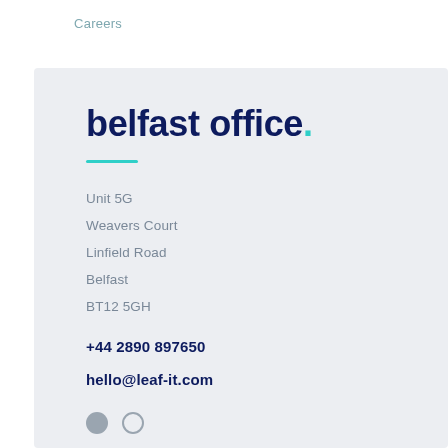Careers
belfast office.
Unit 5G
Weavers Court
Linfield Road
Belfast
BT12 5GH
+44 2890 897650
hello@leaf-it.com